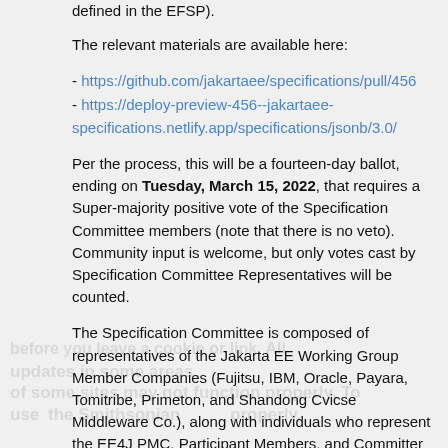defined in the EFSP).
The relevant materials are available here:
- https://github.com/jakartaee/specifications/pull/456
- https://deploy-preview-456--jakartaee-specifications.netlify.app/specifications/jsonb/3.0/
Per the process, this will be a fourteen-day ballot, ending on Tuesday, March 15, 2022, that requires a Super-majority positive vote of the Specification Committee members (note that there is no veto). Community input is welcome, but only votes cast by Specification Committee Representatives will be counted.
The Specification Committee is composed of representatives of the Jakarta EE Working Group Member Companies (Fujitsu, IBM, Oracle, Payara, Tomitribe, Primeton, and Shandong Cvicse Middleware Co.), along with individuals who represent the EE4J PMC, Participant Members, and Committer Members.
Specification Committee representatives, your vote is